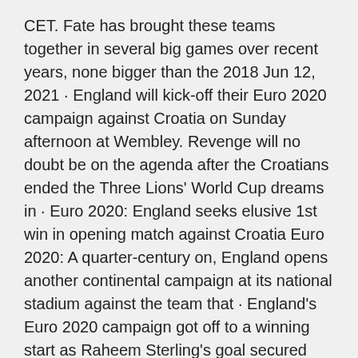CET. Fate has brought these teams together in several big games over recent years, none bigger than the 2018 Jun 12, 2021 · England will kick-off their Euro 2020 campaign against Croatia on Sunday afternoon at Wembley. Revenge will no doubt be on the agenda after the Croatians ended the Three Lions' World Cup dreams in · Euro 2020: England seeks elusive 1st win in opening match against Croatia Euro 2020: A quarter-century on, England opens another continental campaign at its national stadium against the team that · England's Euro 2020 campaign got off to a winning start as Raheem Sterling's goal secured victory over Croatia at Wembley. Sterling repaid England manager Gareth Southgate's faith in him, sliding Jun 10, 2021 · England embark on their Euro 2020 fixtures this weekend with a clash against Croatia to open up their